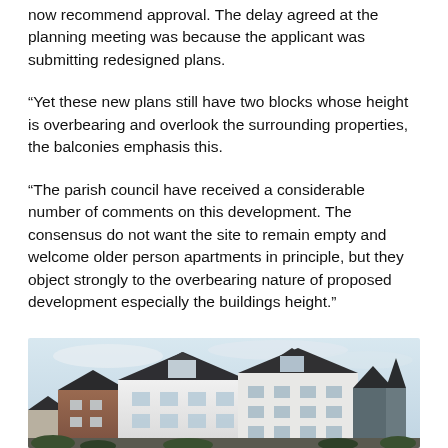now recommend approval. The delay agreed at the planning meeting was because the applicant was submitting redesigned plans.
“Yet these new plans still have two blocks whose height is overbearing and overlook the surrounding properties, the balconies emphasis this.
“The parish council have received a considerable number of comments on this development. The consensus do not want the site to remain empty and welcome older person apartments in principle, but they object strongly to the overbearing nature of proposed development especially the buildings height.”
[Figure (photo): Exterior photo of a residential building development showing rooftops with dark roof tiles and white/brick facades against an overcast sky.]